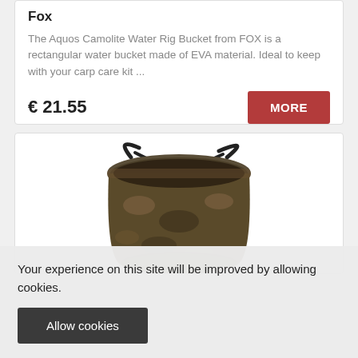Fox
The Aquos Camolite Water Rig Bucket from FOX is a rectangular water bucket made of EVA material. Ideal to keep with your carp care kit ...
€ 21.55
[Figure (photo): A camouflage-patterned collapsible bucket with rope handle, viewed from above at an angle.]
Your experience on this site will be improved by allowing cookies.
Allow cookies